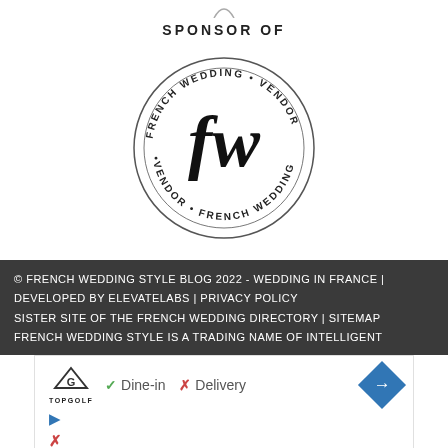[Figure (logo): Partial logo at top (cropped)]
SPONSOR OF
[Figure (logo): French Wedding Vendor circular badge logo with 'fw' monogram in center and text 'FRENCH WEDDING VENDOR' around the circle]
© FRENCH WEDDING STYLE BLOG 2022 - WEDDING IN FRANCE | DEVELOPED BY ELEVATELABS | PRIVACY POLICY SISTER SITE OF THE FRENCH WEDDING DIRECTORY | SITEMAP FRENCH WEDDING STYLE IS A TRADING NAME OF INTELLIGENT
[Figure (screenshot): Advertisement showing Topgolf logo, Dine-in checkmark, Delivery X mark, navigation arrow, play button and close button icons]